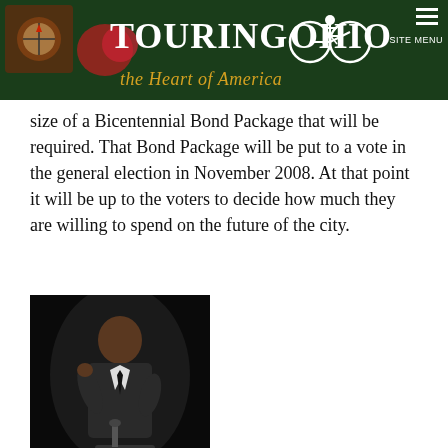Touring Ohio — the Heart of America
size of a Bicentennial Bond Package that will be required. That Bond Package will be put to a vote in the general election in November 2008. At that point it will be up to the voters to decide how much they are willing to spend on the future of the city.
[Figure (photo): A man in a dark suit speaking at a podium with a microphone, photographed against a dark background.]